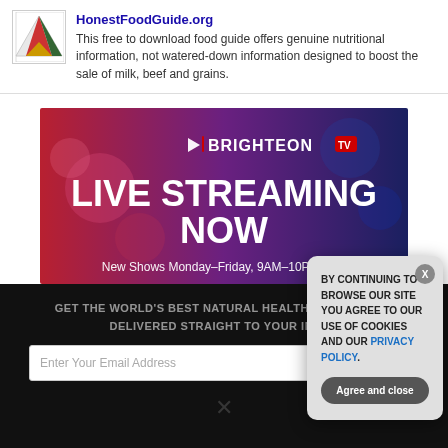[Figure (logo): HonestFoodGuide.org logo - colorful triangle with food imagery]
HonestFoodGuide.org
This free to download food guide offers genuine nutritional information, not watered-down information designed to boost the sale of milk, beef and grains.
[Figure (screenshot): Brighteon TV Live Streaming Now - New Shows Monday-Friday, 9AM-10PM EST banner ad with red and blue gradient background]
GET THE WORLD'S BEST NATURAL HEALTH NEWSLETTER DELIVERED STRAIGHT TO YOUR INBOX
Enter Your Email Address
SUBSCRIBE
BY CONTINUING TO BROWSE OUR SITE YOU AGREE TO OUR USE OF COOKIES AND OUR PRIVACY POLICY.
Agree and close